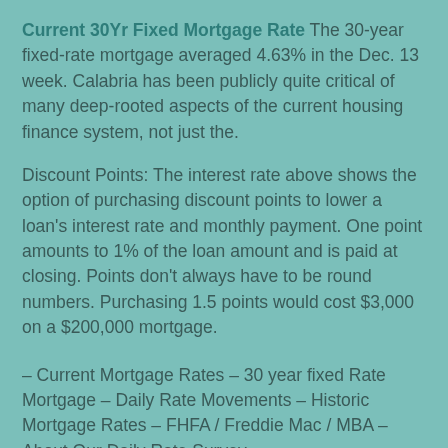Current 30Yr Fixed Mortgage Rate
The 30-year fixed-rate mortgage averaged 4.63% in the Dec. 13 week. Calabria has been publicly quite critical of many deep-rooted aspects of the current housing finance system, not just the.
Discount Points: The interest rate above shows the option of purchasing discount points to lower a loan's interest rate and monthly payment. One point amounts to 1% of the loan amount and is paid at closing. Points don't always have to be round numbers. Purchasing 1.5 points would cost $3,000 on a $200,000 mortgage.
– Current Mortgage Rates – 30 year fixed Rate Mortgage – Daily Rate Movements – Historic Mortgage Rates – FHFA / Freddie Mac / MBA – About Our Daily Rate Survey